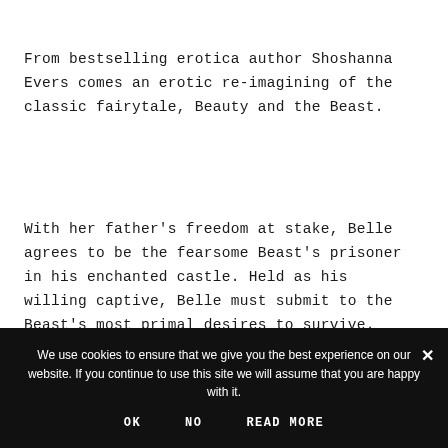From bestselling erotica author Shoshanna Evers comes an erotic re-imagining of the classic fairytale, Beauty and the Beast.
With her father's freedom at stake, Belle agrees to be the fearsome Beast's prisoner in his enchanted castle. Held as his willing captive, Belle must submit to the Beast's most primal desires to survive.
We use cookies to ensure that we give you the best experience on our website. If you continue to use this site we will assume that you are happy with it.
OK   NO   READ MORE